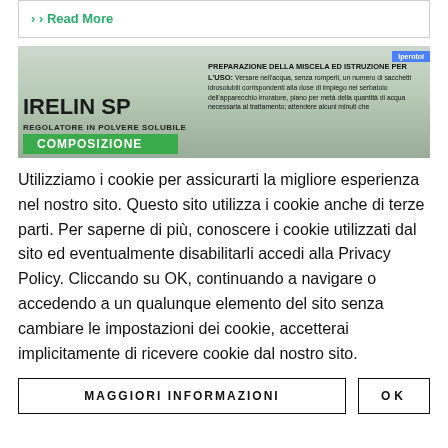› Read More
[Figure (photo): Product label image for IRELIN SP - REGOLATORE IN POLVERE SOLUBILE, showing COMPOSIZIONE section on the left and preparation instructions (PREPARAZIONE DELLA MISCELA ED ISTRUZIONI PER L'USO) on the right.]
Utilizziamo i cookie per assicurarti la migliore esperienza nel nostro sito. Questo sito utilizza i cookie anche di terze parti. Per saperne di più, conoscere i cookie utilizzati dal sito ed eventualmente disabilitarli accedi alla Privacy Policy. Cliccando su OK, continuando a navigare o accedendo a un qualunque elemento del sito senza cambiare le impostazioni dei cookie, accetterai implicitamente di ricevere cookie dal nostro sito.
MAGGIORI INFORMAZIONI
OK